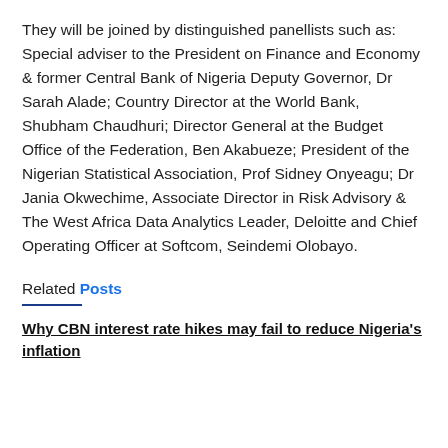They will be joined by distinguished panellists such as: Special adviser to the President on Finance and Economy & former Central Bank of Nigeria Deputy Governor, Dr Sarah Alade; Country Director at the World Bank, Shubham Chaudhuri; Director General at the Budget Office of the Federation, Ben Akabueze; President of the Nigerian Statistical Association, Prof Sidney Onyeagu; Dr Jania Okwechime, Associate Director in Risk Advisory & The West Africa Data Analytics Leader, Deloitte and Chief Operating Officer at Softcom, Seindemi Olobayo.
Related Posts
Why CBN interest rate hikes may fail to reduce Nigeria's inflation